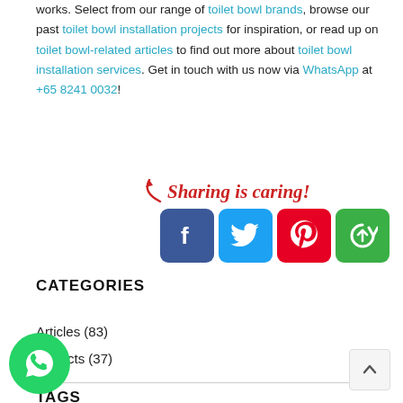works. Select from our range of toilet bowl brands, browse our past toilet bowl installation projects for inspiration, or read up on toilet bowl-related articles to find out more about toilet bowl installation services. Get in touch with us now via WhatsApp at +65 8241 0032!
[Figure (infographic): Sharing is caring! text with a red arrow and four social media icons: Facebook (blue), Twitter (light blue), Pinterest (red), and a share/refresh icon (green)]
CATEGORIES
Articles (83)
Projects (37)
TAGS